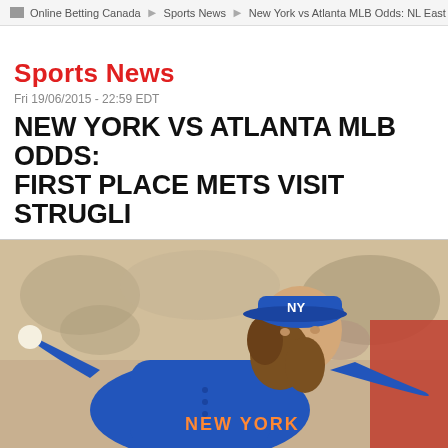Online Betting Canada > Sports News > New York vs Atlanta MLB Odds: NL East First
Sports News
Fri 19/06/2015 - 22:59 EDT
NEW YORK VS ATLANTA MLB ODDS: FIRST PLACE METS VISIT STRUGG
[Figure (photo): Jacob deGrom pitching in New York Mets uniform, blue jersey with NY logo on cap, mid-pitch motion with baseball in hand, crowd in background]
New York Mets: Ace Jacob deGrom hea